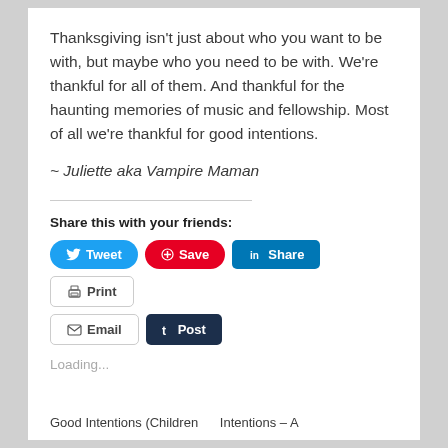Thanksgiving isn't just about who you want to be with, but maybe who you need to be with. We're thankful for all of them. And thankful for the haunting memories of music and fellowship. Most of all we're thankful for good intentions.
~ Juliette aka Vampire Maman
Share this with your friends:
Loading...
Good Intentions (Children    Intentions – A